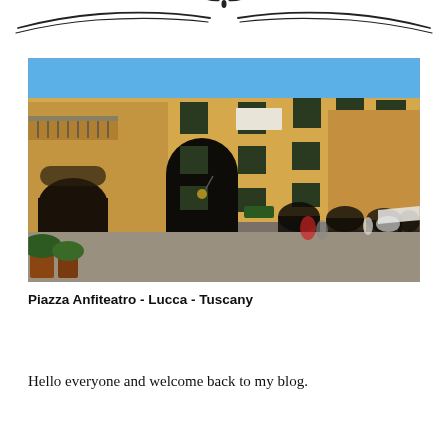[Figure (illustration): Decorative header ornament: two curved flourish lines extending left and right from a central floral/leaf motif in black ink.]
[Figure (photo): Photograph of Piazza Anfiteatro in Lucca, Tuscany. Shows the curved facade of tall ochre/yellow Italian buildings with green shuttered windows, arched doorways at ground level, and a bright blue sky. The piazza ground is stone-paved with people in the distance.]
Piazza Anfiteatro - Lucca - Tuscany
Hello everyone and welcome back to my blog.